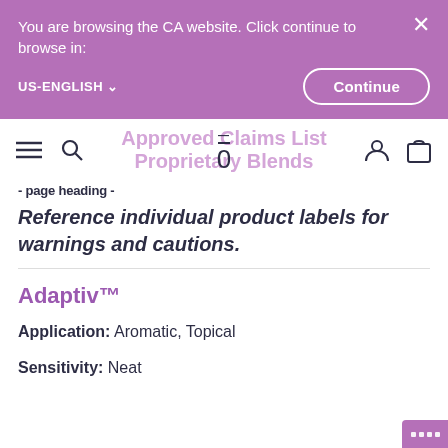You are browsing the CA website. Click continue to browse in:
US-ENGLISH
Continue
Approved Claims List Proprietary Blends
Reference individual product labels for warnings and cautions.
Adaptiv™
Application: Aromatic, Topical
Sensitivity: Neat